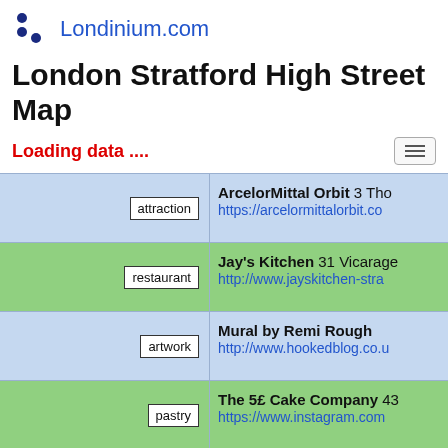Londinium.com
London Stratford High Street Map
Loading data ....
| category | name/url |
| --- | --- |
| attraction | ArcelorMittal Orbit 3 Tho… https://arcelormittalorbit.co… |
| restaurant | Jay's Kitchen 31 Vicarage… http://www.jayskitchen-stra… |
| artwork | Mural by Remi Rough http://www.hookedblog.co.u… |
| pastry | The 5£ Cake Company 43… https://www.instagram.com… |
| bicycle_parking | bikehangar https://www.cyclehoon.re… |